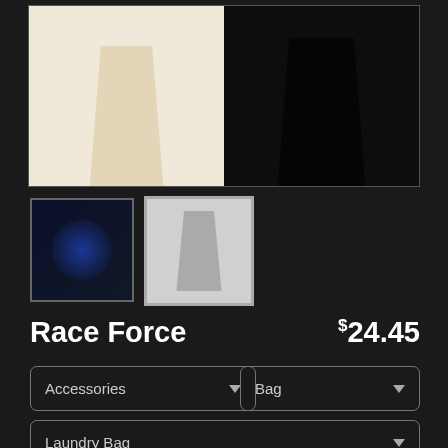[Figure (photo): Product image showing two bags - a cream/natural colored bag on the left and a black bag on the right with a Race Force design]
[Figure (photo): Thumbnail 1: small black product image showing Race Force design on dark background]
[Figure (photo): Thumbnail 2: small image showing white/light colored bag with Race Force design]
Race Force
$24.45
Accessories
Bag
Laundry Bag
$24.45
18" x 32"
$34.95
28" x 36"